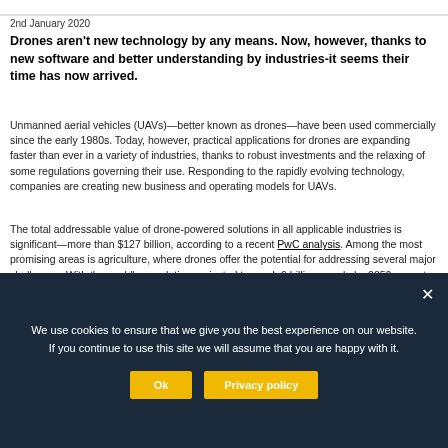2nd January 2020
Drones aren't new technology by any means. Now, however, thanks to new software and better understanding by industries-it seems their time has now arrived.
Unmanned aerial vehicles (UAVs)—better known as drones—have been used commercially since the early 1980s. Today, however, practical applications for drones are expanding faster than ever in a variety of industries, thanks to robust investments and the relaxing of some regulations governing their use. Responding to the rapidly evolving technology, companies are creating new business and operating models for UAVs.
The total addressable value of drone-powered solutions in all applicable industries is significant—more than $127 billion, according to a recent PwC analysis. Among the most promising areas is agriculture, where drones offer the potential for addressing several major challenges. With the world's population projected to reach 9 billion people by 2050, experts expect agricultural consumption to increase by nearly 70 percent over the same
We use cookies to ensure that we give you the best experience on our website. If you continue to use this site we will assume that you are happy with it.